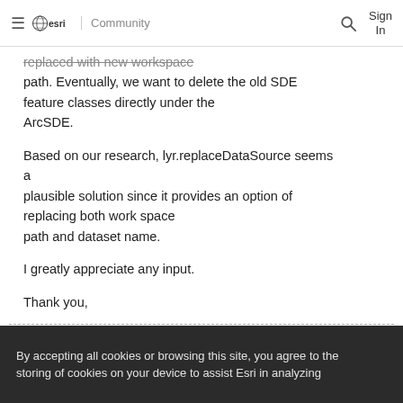esri Community — Sign In
replaced with new workspace path. Eventually, we want to delete the old SDE feature classes directly under the ArcSDE.
Based on our research, lyr.replaceDataSource seems a plausible solution since it provides an option of replacing both work space path and dataset name.
I greatly appreciate any input.
Thank you,
By accepting all cookies or browsing this site, you agree to the storing of cookies on your device to assist Esri in analyzing